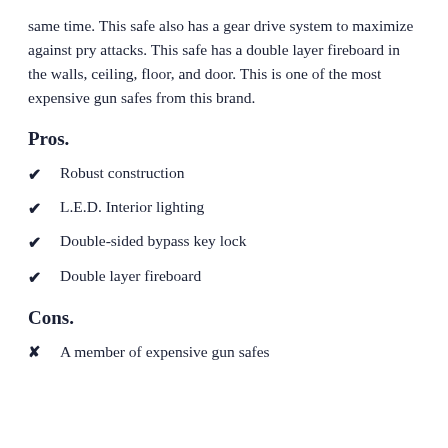same time. This safe also has a gear drive system to maximize against pry attacks. This safe has a double layer fireboard in the walls, ceiling, floor, and door. This is one of the most expensive gun safes from this brand.
Pros.
Robust construction
L.E.D. Interior lighting
Double-sided bypass key lock
Double layer fireboard
Cons.
A member of expensive gun safes